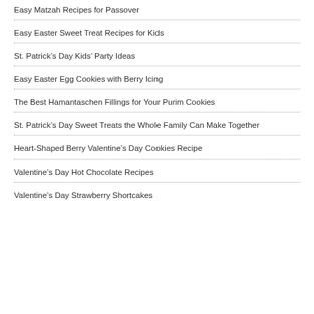Easy Matzah Recipes for Passover
Easy Easter Sweet Treat Recipes for Kids
St. Patrick's Day Kids' Party Ideas
Easy Easter Egg Cookies with Berry Icing
The Best Hamantaschen Fillings for Your Purim Cookies
St. Patrick's Day Sweet Treats the Whole Family Can Make Together
Heart-Shaped Berry Valentine's Day Cookies Recipe
Valentine's Day Hot Chocolate Recipes
Valentine's Day Strawberry Shortcakes